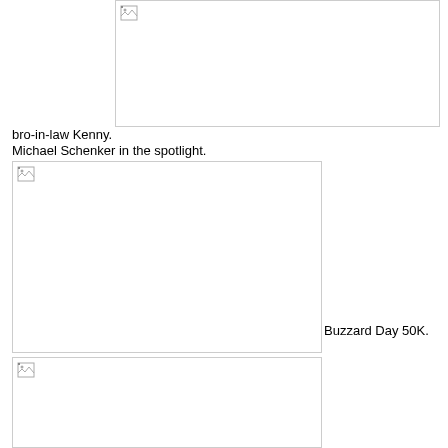[Figure (photo): Broken/missing image placeholder at top right, partially visible]
bro-in-law Kenny.
Michael Schenker in the spotlight.
[Figure (photo): Broken/missing image placeholder, second photo]
Buzzard Day 50K.
[Figure (photo): Broken/missing image placeholder, third photo]